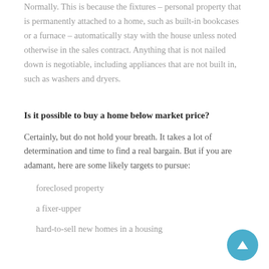Normally. This is because the fixtures – personal property that is permanently attached to a home, such as built-in bookcases or a furnace – automatically stay with the house unless noted otherwise in the sales contract. Anything that is not nailed down is negotiable, including appliances that are not built in, such as washers and dryers.
Is it possible to buy a home below market price?
Certainly, but do not hold your breath. It takes a lot of determination and time to find a real bargain. But if you are adamant, here are some likely targets to pursue:
foreclosed property
a fixer-upper
hard-to-sell new homes in a housing